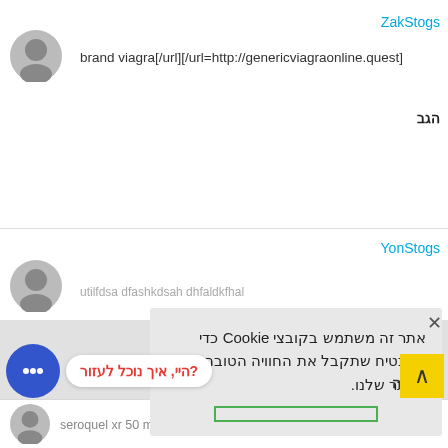ZakStogs
brand viagra[/url][/url=http://genericviagraonline.quest]
הגב
YonStogs
אתר זה משתמש בקובצי Cookie כדי להבטיח שתקבל את החוויה הטובה ביותר באתר שלנו.
דחה
?היי, איך נוכל לעזור
seroquel xr 50 mg[/url][/url=http://quetiapine.monster]